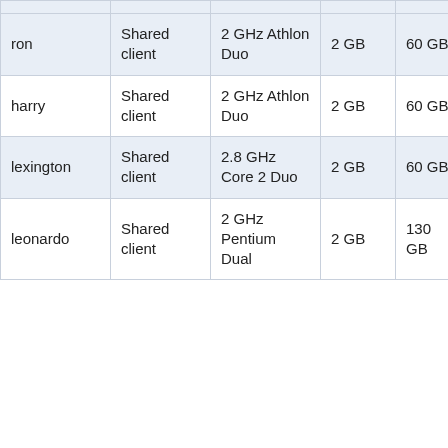| ron | Shared client | 2 GHz Athlon Duo | 2 GB | 60 GB | Ron Weasley one of Harry's friends |
| harry | Shared client | 2 GHz Athlon Duo | 2 GB | 60 GB | After Harry Potter, hero of eponymous series. |
| lexington | Shared client | 2.8 GHz Core 2 Duo | 2 GB | 60 GB | Lexington Avenue, New York City |
| leonardo | Shared client | 2 GHz Pentium Dual... | 2 GB | 130 GB | After Leonardo da Vinci... |